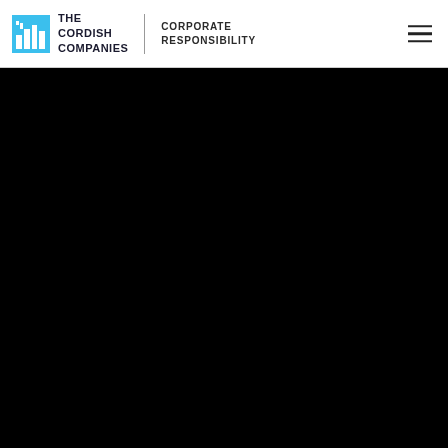The Cordish Companies — Corporate Responsibility
[Figure (photo): Large black image area below the header, occupying the majority of the page]